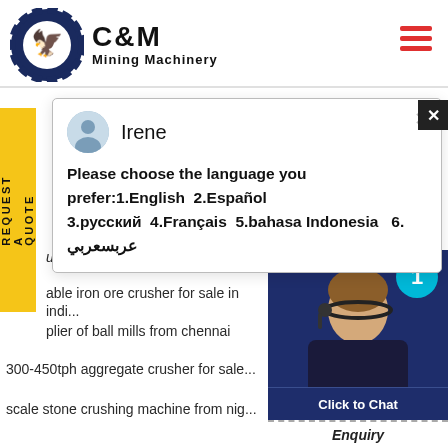[Figure (logo): C&M Mining Machinery logo with eagle gear emblem in dark blue]
[Figure (infographic): Chat popup from agent Irene with language selection options: 1.English 2.Español 3.русский 4.Français 5.bahasa Indonesia 6. عربسعربي]
ufacturer direct selling raymond m...
able iron ore crusher for sale in indi...
plier of ball mills from chennai
300-450tph aggregate crusher for sale...
scale stone crushing machine from nig...
[Figure (photo): Customer service agent woman with headset, dark blue background, with cyan circle badge showing number 1]
Click to Chat
Enquiry